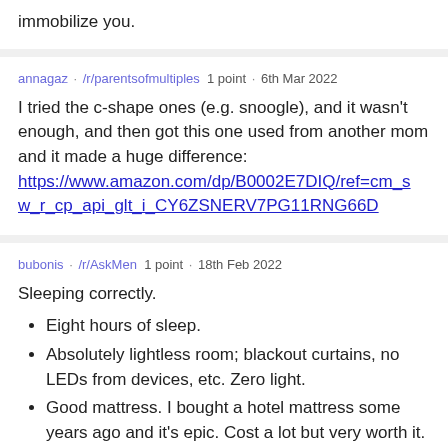immobilize you.
annagaz · /r/parentsofmultiples  1 point · 6th Mar 2022
I tried the c-shape ones (e.g. snoogle), and it wasn’t enough, and then got this one used from another mom and it made a huge difference: https://www.amazon.com/dp/B0002E7DIQ/ref=cm_sw_r_cp_api_glt_i_CY6ZSNERV7PG11RNG66D
bubonis · /r/AskMen  1 point · 18th Feb 2022
Sleeping correctly.
Eight hours of sleep.
Absolutely lightless room; blackout curtains, no LEDs from devices, etc. Zero light.
Good mattress. I bought a hotel mattress some years ago and it's epic. Cost a lot but very worth it.